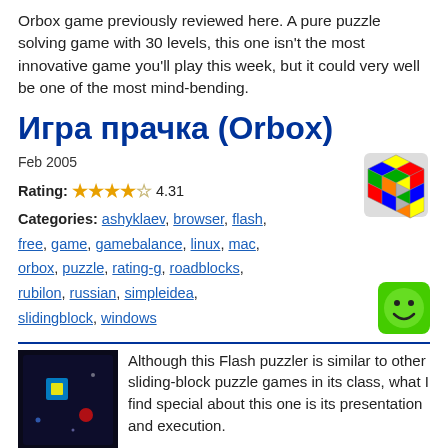Orbox game previously reviewed here. A pure puzzle solving game with 30 levels, this one isn't the most innovative game you'll play this week, but it could very well be one of the most mind-bending.
Игра прачка (Orbox)
Feb 2005
Rating: 4.31
Categories: ashyklaev, browser, flash, free, game, gamebalance, linux, mac, orbox, puzzle, rating-g, roadblocks, rubilon, russian, simpleidea, slidingblock, windows
[Figure (illustration): Colorful Rubik's cube icon]
[Figure (illustration): Green smiley face button icon]
[Figure (screenshot): Dark game screenshot showing blue and yellow blinking box puzzle on dark background]
Although this Flash puzzler is similar to other sliding-block puzzle games in its class, what I find special about this one is its presentation and execution. The goal of Orbox is to navigate the blue and yellow blinking box to the red goal in the fewest moves possible using just the arrow keys for control.
[Top of Page]